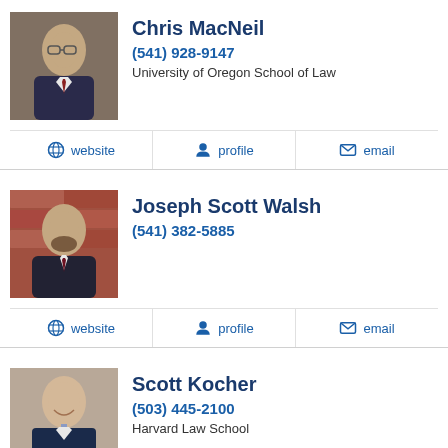[Figure (photo): Headshot of Chris MacNeil, a man with glasses wearing a suit]
Chris MacNeil
(541) 928-9147
University of Oregon School of Law
website | profile | email
[Figure (photo): Headshot of Joseph Scott Walsh, a man with beard wearing a suit, brick wall background]
Joseph Scott Walsh
(541) 382-5885
website | profile | email
[Figure (photo): Headshot of Scott Kocher, a smiling man wearing a suit]
Scott Kocher
(503) 445-2100
Harvard Law School